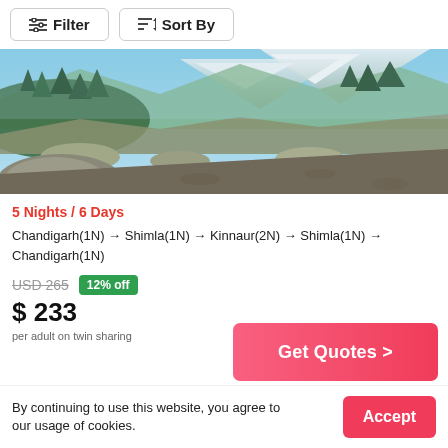Filter  Sort By
[Figure (photo): Scenic mountain landscape with snow-capped peaks, green trees, rocky terrain and blue sky — Himachal Pradesh / Kinnaur region]
5 Nights / 6 Days
Chandigarh(1N) → Shimla(1N) → Kinnaur(2N) → Shimla(1N) → Chandigarh(1N)
USD 265  12% off
$ 233
per adult on twin sharing
Get Quotes >
By continuing to use this website, you agree to our usage of cookies.
Accept